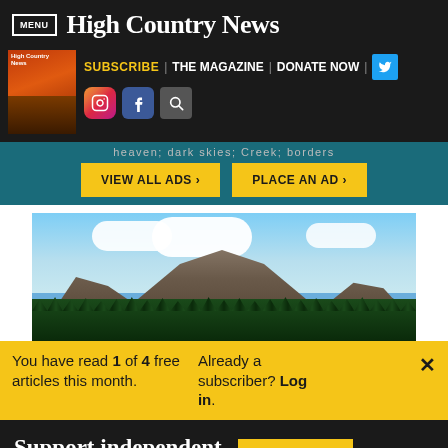MENU | High Country News
SUBSCRIBE | THE MAGAZINE | DONATE NOW
[Figure (screenshot): Navigation icons: Instagram, Facebook, Search]
heaven; dark skies; Creek; borders
VIEW ALL ADS › | PLACE AN AD ›
[Figure (photo): Mountain landscape with pine trees in foreground and cloudy sky, likely San Francisco Peaks in Arizona]
You have read 1 of 4 free articles this month. Already a subscriber? Log in.
Support independent journalism. Subscribe